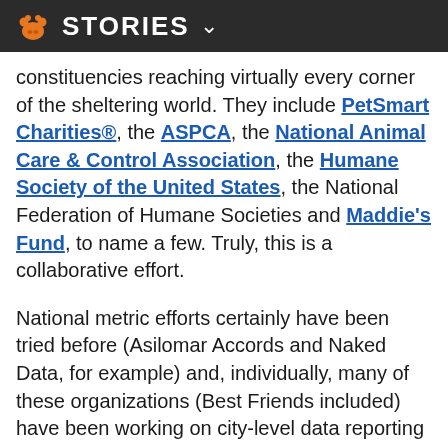STORIES
constituencies reaching virtually every corner of the sheltering world. They include PetSmart Charities®, the ASPCA, the National Animal Care & Control Association, the Humane Society of the United States, the National Federation of Humane Societies and Maddie's Fund, to name a few. Truly, this is a collaborative effort.
National metric efforts certainly have been tried before (Asilomar Accords and Naked Data, for example) and, individually, many of these organizations (Best Friends included) have been working on city-level data reporting projects. While few of the national efforts succeeded, a lot was learned that information shared...